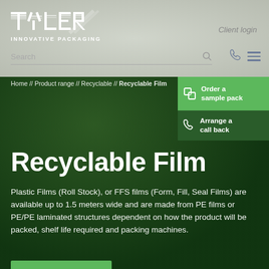[Figure (logo): Tyler Innovative Packaging logo — white stylized letters TYLER with horizontal lines, above text INNOVATIVE PACKAGING]
Client login
Search
Home // Product range // Recyclable // Recyclable Film
Order a sample pack
Arrange a call back
Recyclable Film
Plastic Films (Roll Stock), or FFS films (Form, Fill, Seal Films) are available up to 1.5 meters wide and are made from PE films or PE/PE laminated structures dependent on how the product will be packed, shelf life required and packing machines.